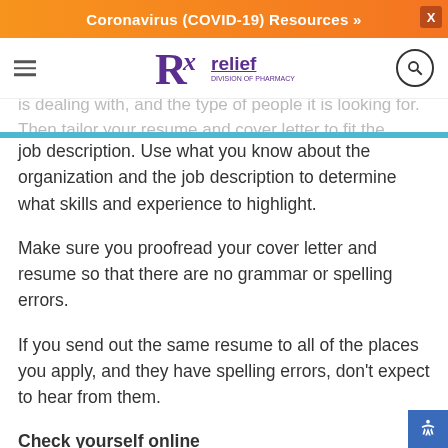Coronavirus (COVID-19) Resources »
Do your research on the organization. You need to know its mission, goals, and values, what challenges it is dealing with, and the type of people it is looking for. Then tailor your resume and cover letter to fit the employer and the job description. Use what you know about the organization and the job description to determine what skills and experience to highlight.
Make sure you proofread your cover letter and resume so that there are no grammar or spelling errors.
If you send out the same resume to all of the places you apply, and they have spelling errors, don't expect to hear from them.
Check yourself online
When an employer is considering someone for a job these